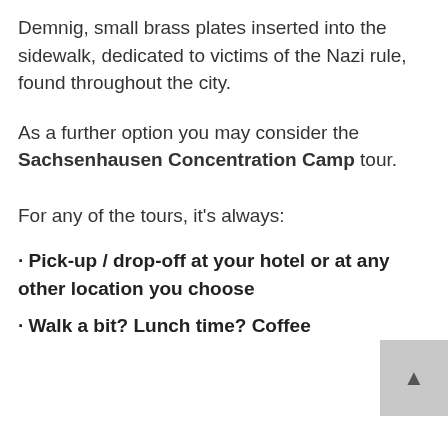Demnig, small brass plates inserted into the sidewalk, dedicated to victims of the Nazi rule, found throughout the city.
As a further option you may consider the Sachsenhausen Concentration Camp tour.
For any of the tours, it's always:
• Pick-up / drop-off at your hotel or at any other location you choose
• Walk a bit? Lunch time? Coffee